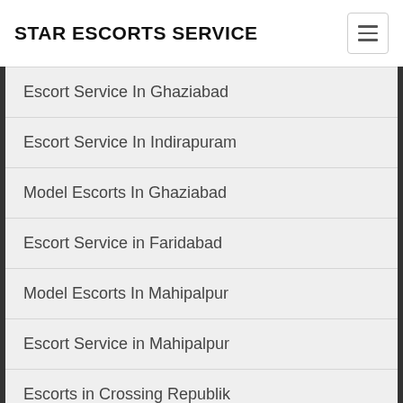STAR ESCORTS SERVICE
Escort Service In Ghaziabad
Escort Service In Indirapuram
Model Escorts In Ghaziabad
Escort Service in Faridabad
Model Escorts In Mahipalpur
Escort Service in Mahipalpur
Escorts in Crossing Republik
Escort Service In Greater Noida
russian Escorts In Greater Noida